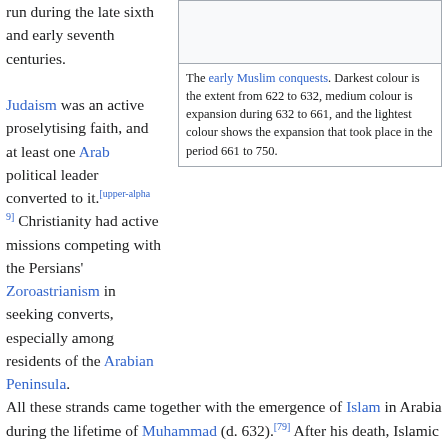run during the late sixth and early seventh centuries. Judaism was an active proselytising faith, and at least one Arab political leader converted to it.[upper-alpha 9] Christianity had active missions competing with the Persians' Zoroastrianism in seeking converts, especially among residents of the Arabian Peninsula.
[Figure (map): Map showing the early Muslim conquests with three shades indicating different periods of expansion.]
The early Muslim conquests. Darkest colour is the extent from 622 to 632, medium colour is expansion during 632 to 661, and the lightest colour shows the expansion that took place in the period 661 to 750.
All these strands came together with the emergence of Islam in Arabia during the lifetime of Muhammad (d. 632).[79] After his death, Islamic forces conquered much of the Eastern Empire and Persia, starting with Syria in 634–635 and reaching Egypt in 640–641, Persia between 637 and 642, North Africa in the later seventh century, and the Iberian Peninsula in 711.[80] By 714, Islamic forces controlled much of the peninsula in a region they called Al-Andalus.[81]
The Islamic conquests reached their peak in the mid-eighth century. The defeat of Muslim forces at the Battle of Tours in 732 led to the